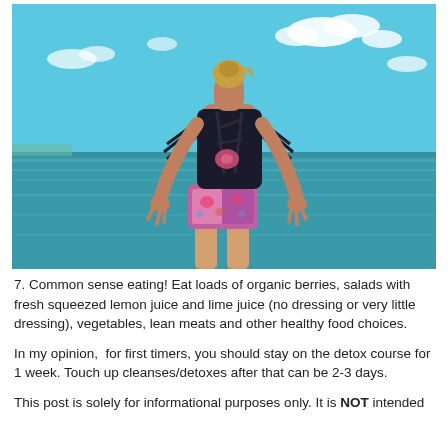[Figure (photo): Woman seen from behind standing at the ocean edge, wearing a black strappy tank top with fringe and colorful floral shorts, with blue sky and clouds above the sea horizon.]
7. Common sense eating! Eat loads of organic berries, salads with fresh squeezed lemon juice and lime juice (no dressing or very little dressing), vegetables, lean meats and other healthy food choices.
In my opinion,  for first timers, you should stay on the detox course for 1 week. Touch up cleanses/detoxes after that can be 2-3 days.
This post is solely for informational purposes only. It is NOT intended